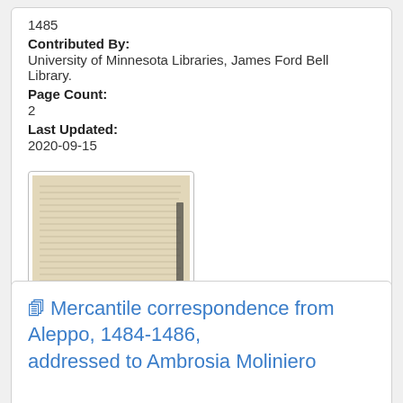1485
Contributed By:
University of Minnesota Libraries, James Ford Bell Library.
Page Count:
2
Last Updated:
2020-09-15
[Figure (photo): Thumbnail of a manuscript page with dense handwritten text in old script on aged parchment/paper.]
Mercantile correspondence from Aleppo, 1484-1486, addressed to Ambrosia Moliniero